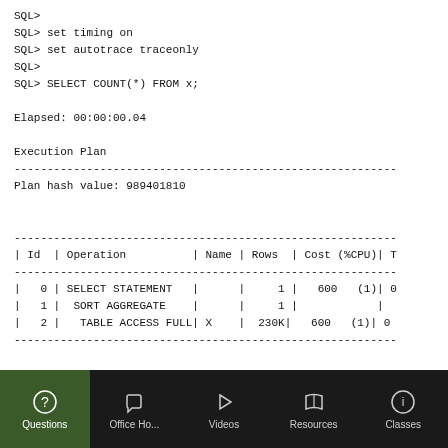SQL>
SQL> set timing on
SQL> set autotrace traceonly
SQL>
SQL> SELECT COUNT(*) FROM x;

Elapsed: 00:00:00.04

Execution Plan
----------------------------------------------------------
Plan hash value: 989401810


----------------------------------------------------------
| Id  | Operation         | Name | Rows  | Cost (%CPU)| T
----------------------------------------------------------
|   0 | SELECT STATEMENT  |      |     1 |   600   (1)| 0
|   1 |  SORT AGGREGATE   |      |     1 |            |
|   2 |   TABLE ACCESS FULL| X   |  230K |   600   (1)| 0
----------------------------------------------------------

Note
-----
   - dynamic sampling used for this statement
Questions | Office Ho... | Videos | Resources | Classes